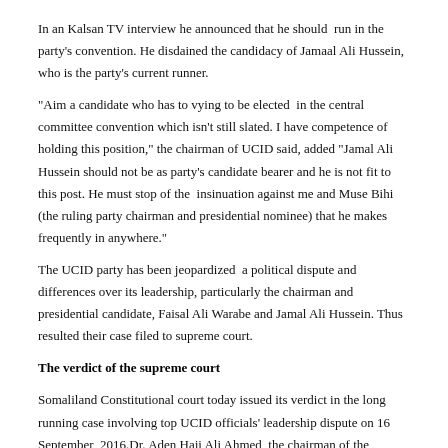In an Kalsan TV interview he announced that he should run in the party's convention. He disdained the candidacy of Jamaal Ali Hussein, who is the party's current runner.
“Aim a candidate who has to vying to be elected in the central committee convention which isn’t still slated. I have competence of holding this position,” the chairman of UCID said, added “Jamal Ali Hussein should not be as party’s candidate bearer and he is not fit to this post. He must stop of the insinuation against me and Muse Bihi (the ruling party chairman and presidential nominee) that he makes frequently in anywhere.”
The UCID party has been jeopardized a political dispute and differences over its leadership, particularly the chairman and presidential candidate, Faisal Ali Warabe and Jamal Ali Hussein. Thus resulted their case filed to supreme court.
The verdict of the supreme court
Somaliland Constitutional court today issued its verdict in the long running case involving top UCID officials’ leadership dispute on 16 September 2016.Dr. Aden Haji Ali Ahmed, the chairman of the Constitutional court of the Republic of Somaliland read the verdict in front of a packed courtroom.
He stated as follows:-